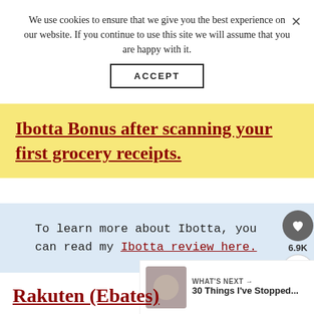We use cookies to ensure that we give you the best experience on our website. If you continue to use this site we will assume that you are happy with it.
ACCEPT
Ibotta Bonus after scanning your first grocery receipts.
To learn more about Ibotta, you can read my Ibotta review here.
6.9K
WHAT'S NEXT → 30 Things I've Stopped...
Rakuten (Ebates)